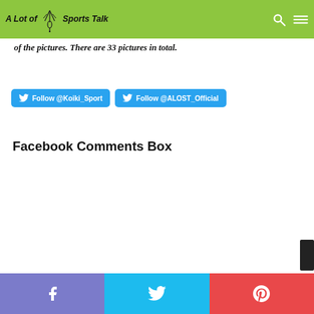A Lot of Sports Talk
the first photo to enlarge the picture, make sure to press the left and right arrow buttons to scroll through the rest of the pictures. There are 33 pictures in total.
Follow @Koiki_Sport   Follow @ALOST_Official
Facebook Comments Box
Facebook share | Twitter share | Pinterest share